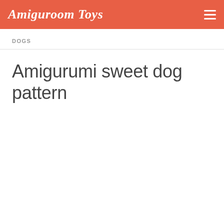Amiguroom Toys
DOGS
Amigurumi sweet dog pattern